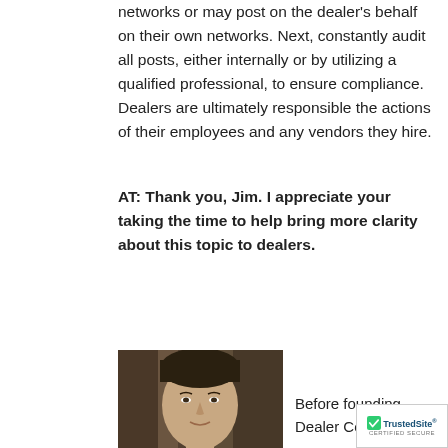networks or may post on the dealer's behalf on their own networks. Next, constantly audit all posts, either internally or by utilizing a qualified professional, to ensure compliance. Dealers are ultimately responsible the actions of their employees and any vendors they hire.
AT: Thank you, Jim. I appreciate your taking the time to help bring more clarity about this topic to dealers.
[Figure (photo): Headshot photo of a man with dark hair against a wooden background]
Before founding Dealer Compliance
[Figure (logo): TrustedSite certified secure badge with green checkmark]